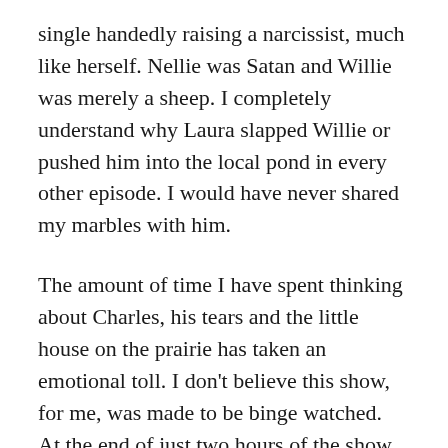single handedly raising a narcissist, much like herself. Nellie was Satan and Willie was merely a sheep. I completely understand why Laura slapped Willie or pushed him into the local pond in every other episode. I would have never shared my marbles with him.
The amount of time I have spent thinking about Charles, his tears and the little house on the prairie has taken an emotional toll. I don't believe this show, for me, was made to be binge watched. At the end of just two hours of the show, I tend to be soaked in cortisol